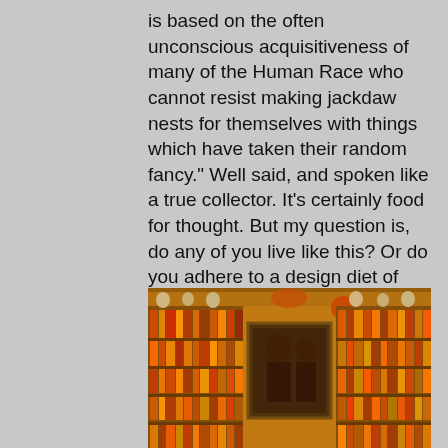is based on the often unconscious acquisitiveness of many of the Human Race who cannot resist making jackdaw nests for themselves with things which have taken their random fancy." Well said, and spoken like a true collector. It's certainly food for thought. But my question is, do any of you live like this? Or do you adhere to a design diet of moderation?
[Figure (photo): Warm amber-lit room with floor-to-ceiling bookshelves filled with colorful books, decorative objects including skull-like forms on upper shelves, a dark-framed portrait painting in the center, and orange/warm toned walls creating a densely collected interior space.]